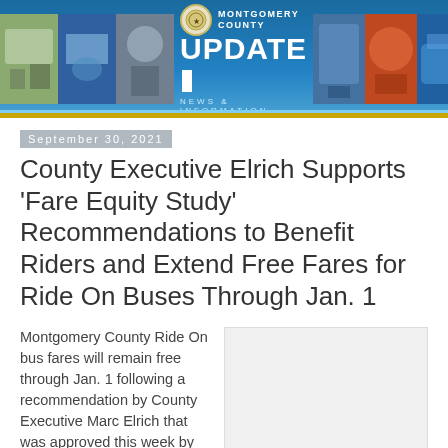[Figure (illustration): Montgomery County Update news banner with photo strips of local scenes and county branding]
September 30, 2021
County Executive Elrich Supports ‘Fare Equity Study’ Recommendations to Benefit Riders and Extend Free Fares for Ride On Buses Through Jan. 1
Montgomery County Ride On bus fares will remain free through Jan. 1 following a recommendation by County Executive Marc Elrich that was approved this week by the County Council